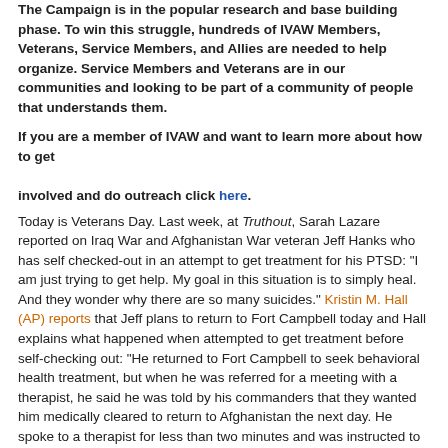The Campaign is in the popular research and base building phase. To win this struggle, hundreds of IVAW Members, Veterans, Service Members, and Allies are needed to help organize. Service Members and Veterans are in our communities and looking to be part of a community of people that understands them.
If you are a member of IVAW and want to learn more about how to get involved and do outreach click here.
Today is Veterans Day. Last week, at Truthout, Sarah Lazare reported on Iraq War and Afghanistan War veteran Jeff Hanks who has self checked-out in an attempt to get treatment for his PTSD: "I am just trying to get help. My goal in this situation is to simply heal. And they wonder why there are so many suicides." Kristin M. Hall (AP) reports that Jeff plans to return to Fort Campbell today and Hall explains what happened when attempted to get treatment before self-checking out: "He returned to Fort Campbell to seek behavioral health treatment, but when he was referred for a meeting with a therapist, he said he was told by his commanders that they wanted him medically cleared to return to Afghanistan the next day. He spoke to a therapist for less than two minutes and was instructed to get marriage counseling when he came back."
Ross Caputi is among the veterans reflecting today. He tells Dan Petersen (Daily Free Press) his story:
Caputi immediately enlisted upon graduating from high school in 2003 but returned to the U.S. after three years without finishing his tour.